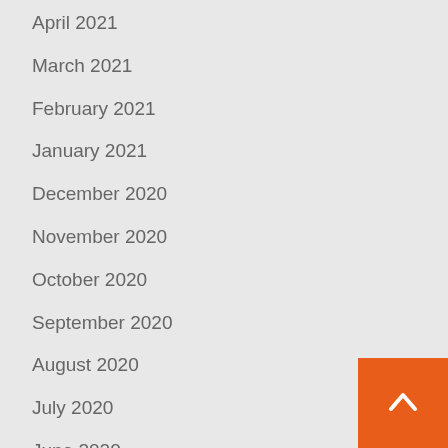April 2021
March 2021
February 2021
January 2021
December 2020
November 2020
October 2020
September 2020
August 2020
July 2020
June 2020
March 2020
November 2018